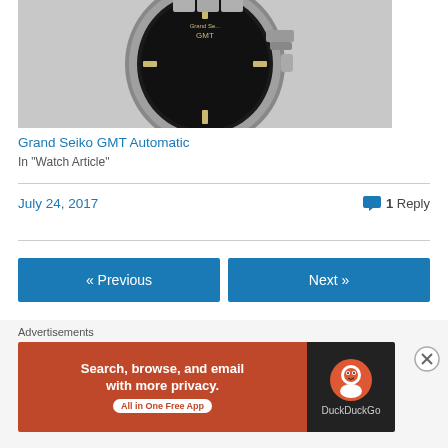[Figure (photo): Grand Seiko GMT Automatic watch with black dial and silver bracelet, partially cropped at top]
Grand Seiko GMT Automatic
In "Watch Article"
July 24, 2017
1 Reply
« Previous
Next »
Advertisements
[Figure (screenshot): DuckDuckGo advertisement banner: Search, browse, and email with more privacy. All in One Free App]